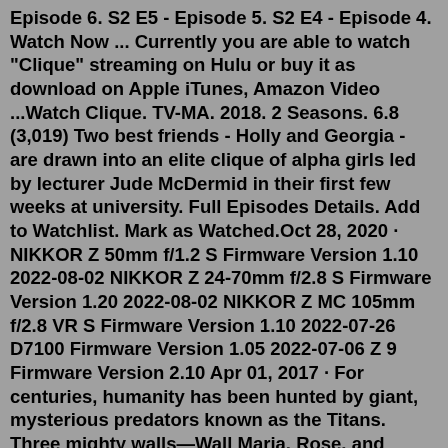Episode 6. S2 E5 - Episode 5. S2 E4 - Episode 4. Watch Now ... Currently you are able to watch "Clique" streaming on Hulu or buy it as download on Apple iTunes, Amazon Video ...Watch Clique. TV-MA. 2018. 2 Seasons. 6.8 (3,019) Two best friends - Holly and Georgia - are drawn into an elite clique of alpha girls led by lecturer Jude McDermid in their first few weeks at university. Full Episodes Details. Add to Watchlist. Mark as Watched.Oct 28, 2020 · NIKKOR Z 50mm f/1.2 S Firmware Version 1.10 2022-08-02 NIKKOR Z 24-70mm f/2.8 S Firmware Version 1.20 2022-08-02 NIKKOR Z MC 105mm f/2.8 VR S Firmware Version 1.10 2022-07-26 D7100 Firmware Version 1.05 2022-07-06 Z 9 Firmware Version 2.10 Apr 01, 2017 · For centuries, humanity has been hunted by giant, mysterious predators known as the Titans. Three mighty walls—Wall Maria, Rose, and Sheena—provided peace and protection for humanity for over a hundred years. That peace, however, was shattered when the Colossal